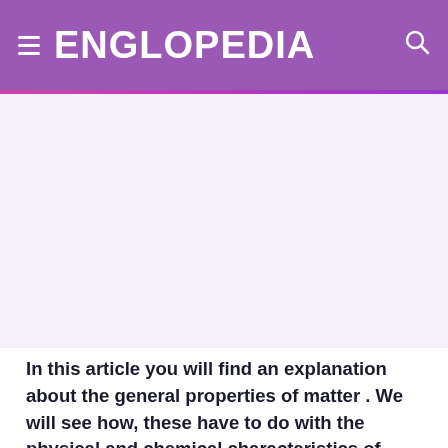ENGLOPEDIA
[Figure (other): Advertisement / blank placeholder area below the header]
In this article you will find an explanation about the general properties of matter . We will see how, these have to do with the physical and chemical characteristics of bodies or objects. You will find a summary of what each